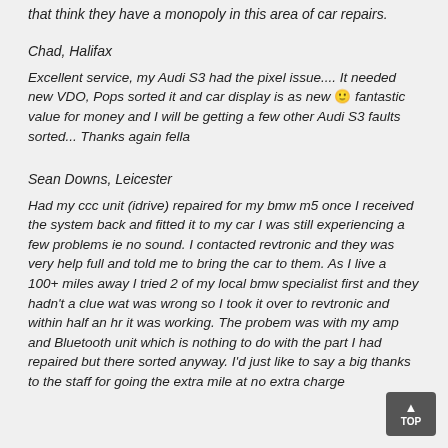that think they have a monopoly in this area of car repairs.
Chad, Halifax
Excellent service, my Audi S3 had the pixel issue.... It needed new VDO, Pops sorted it and car display is as new 🙂 fantastic value for money and I will be getting a few other Audi S3 faults sorted... Thanks again fella
Sean Downs, Leicester
Had my ccc unit (idrive) repaired for my bmw m5 once I received the system back and fitted it to my car I was still experiencing a few problems ie no sound. I contacted revtronic and they was very help full and told me to bring the car to them. As I live a 100+ miles away I tried 2 of my local bmw specialist first and they hadn't a clue wat was wrong so I took it over to revtronic and within half an hr it was working. The probem was with my amp and Bluetooth unit which is nothing to do with the part I had repaired but there sorted anyway. I'd just like to say a big thanks to the staff for going the extra mile at no extra charge